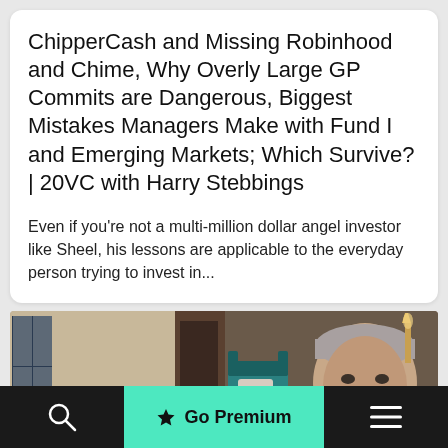ChipperCash and Missing Robinhood and Chime, Why Overly Large GP Commits are Dangerous, Biggest Mistakes Managers Make with Fund I and Emerging Markets; Which Survive? | 20VC with Harry Stebbings
Even if you're not a multi-million dollar angel investor like Sheel, his lessons are applicable to the everyday person trying to invest in...
[Figure (photo): Wide photo strip showing an interior living room scene on the left and a close-up of a middle-aged man with grey hair in the center-right, with decorative wall sconces visible.]